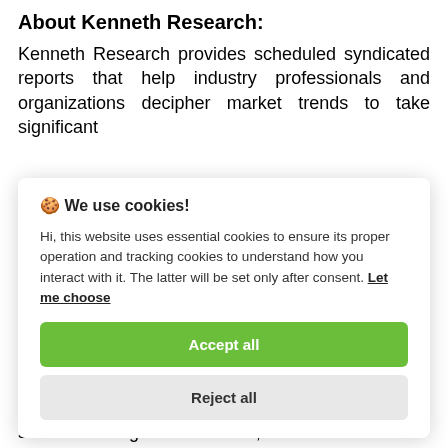About Kenneth Research:
Kenneth Research provides scheduled syndicated reports that help industry professionals and organizations decipher market trends to take significant
[Figure (screenshot): Cookie consent dialog box with title 'We use cookies!', body text about essential and tracking cookies, a 'Let me choose' link, an 'Accept all' green button, and a 'Reject all' grey button.]
services on a global level. We, at Kenneth